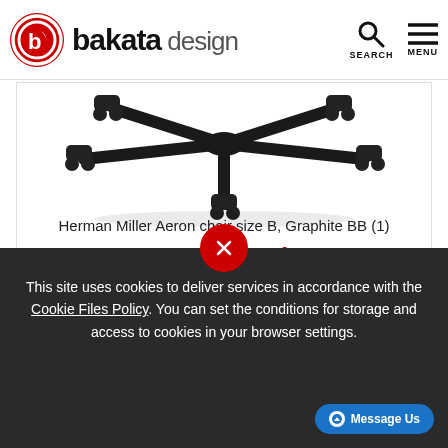bakata design
[Figure (photo): Chair base/caster wheel assembly of a Herman Miller Aeron chair, photographed from below against a white background, showing five-star black base with casters.]
Herman Miller Aeron chair size B, Graphite BB (1)
7 240,16 zł
This site uses cookies to deliver services in accordance with the Cookie Files Policy. You can set the conditions for storage and access to cookies in your browser settings.